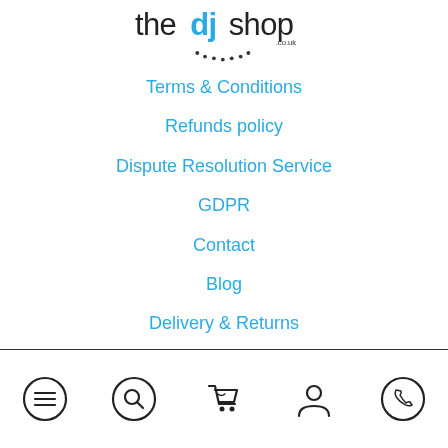[Figure (logo): The DJ Shop logo with 'the' in black thin text, 'dj' in bold blue, 'shop' in black, '.co.uk' label, and a dotted smile arc beneath]
Terms & Conditions
Refunds policy
Dispute Resolution Service
GDPR
Contact
Blog
Delivery & Returns
[Figure (infographic): Footer navigation bar with 5 icons: hamburger menu, search magnifier, shopping cart, user/person, phone]